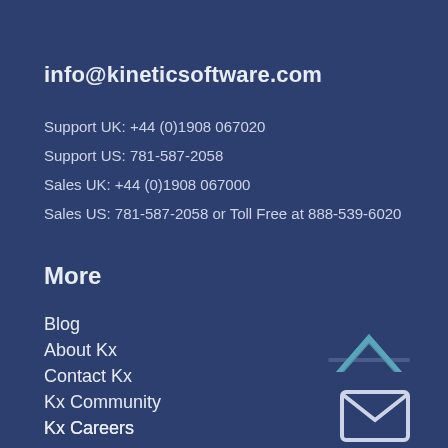info@kineticsoftware.com
Support UK: +44 (0)1908 067020
Support US: 781-587-2058
Sales UK: +44 (0)1908 067000
Sales US: 781-587-2058 or Toll Free at 888-539-6020
More
Blog
About Kx
Contact Kx
Kx Community
Kx Careers
Kx Support
Our Policies
[Figure (illustration): Teal chevron/up-arrow icon]
[Figure (illustration): Email envelope icon]